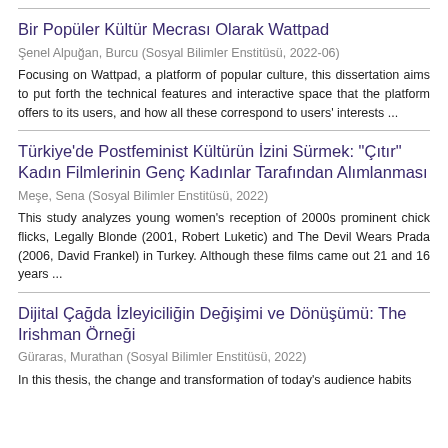Bir Popüler Kültür Mecrası Olarak Wattpad
Şenel Alpuğan, Burcu (Sosyal Bilimler Enstitüsü, 2022-06)
Focusing on Wattpad, a platform of popular culture, this dissertation aims to put forth the technical features and interactive space that the platform offers to its users, and how all these correspond to users' interests ...
Türkiye'de Postfeminist Kültürün İzini Sürmek: "Çıtır" Kadın Filmlerinin Genç Kadınlar Tarafından Alımlanması
Meşe, Sena (Sosyal Bilimler Enstitüsü, 2022)
This study analyzes young women's reception of 2000s prominent chick flicks, Legally Blonde (2001, Robert Luketic) and The Devil Wears Prada (2006, David Frankel) in Turkey. Although these films came out 21 and 16 years ...
Dijital Çağda İzleyiciliğin Değişimi ve Dönüşümü: The Irishman Örneği
Güraras, Murathan (Sosyal Bilimler Enstitüsü, 2022)
In this thesis, the change and transformation of today's audience habits